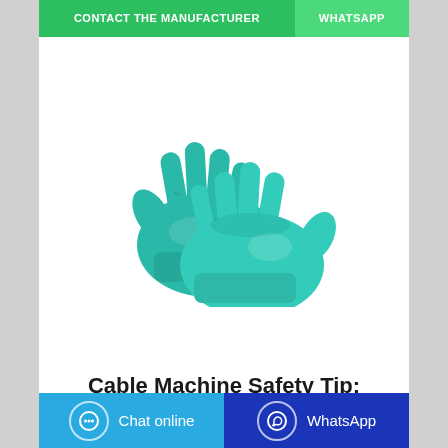[Figure (other): Two teal/green nitrile disposable gloves overlapping each other on a white background]
Cable Machine Safety Tip: When... - Spartan Tool, LLC
CONTACT THE MANUFACTURER
WHATSAPP
Chat online
WhatsApp